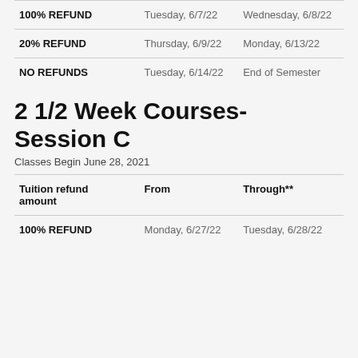| Tuition refund amount | From | Through** |
| --- | --- | --- |
| 100% REFUND | Tuesday, 6/7/22 | Wednesday, 6/8/22 |
| 20% REFUND | Thursday, 6/9/22 | Monday, 6/13/22 |
| NO REFUNDS | Tuesday, 6/14/22 | End of Semester |
2 1/2 Week Courses- Session C
Classes Begin June 28, 2021
| Tuition refund amount | From | Through** |
| --- | --- | --- |
| 100% REFUND | Monday, 6/27/22 | Tuesday, 6/28/22 |